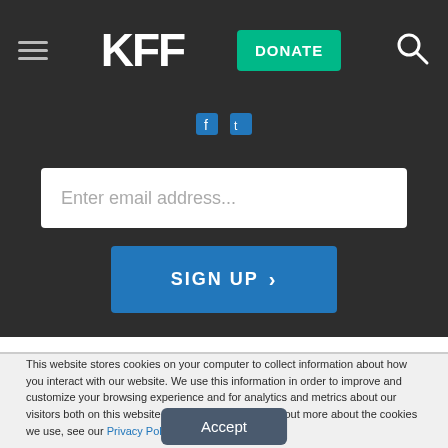KFF | DONATE
Enter email address...
SIGN UP >
This website stores cookies on your computer to collect information about how you interact with our website. We use this information in order to improve and customize your browsing experience and for analytics and metrics about our visitors both on this website and other media. To find out more about the cookies we use, see our Privacy Policy.
Accept